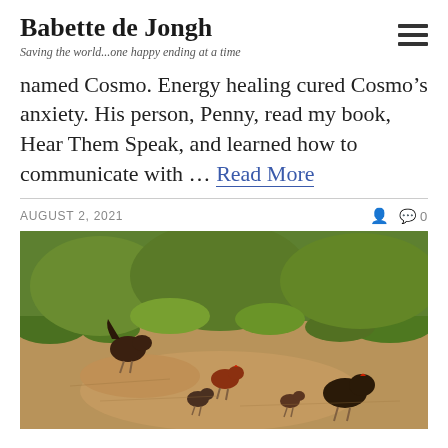Babette de Jongh
Saving the world...one happy ending at a time
named Cosmo. Energy healing cured Cosmo’s anxiety. His person, Penny, read my book, Hear Them Speak, and learned how to communicate with ... Read More
AUGUST 2, 2021   0
[Figure (photo): Outdoor photo of several chickens and/or birds walking along a dirt path with green grass in the background, in natural daylight.]